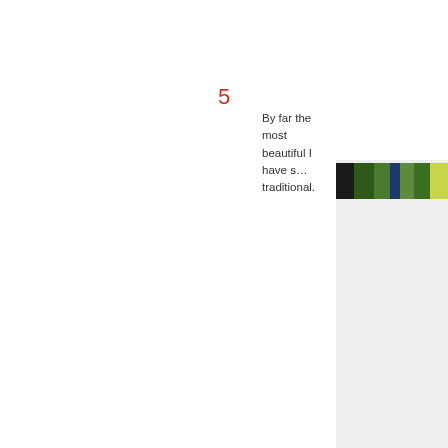5
By far the most beautiful I have s… traditional.
[Figure (photo): A partial photo strip showing foliage or outdoor scene, appearing in the top-right of a light grey panel on the right side of the page.]